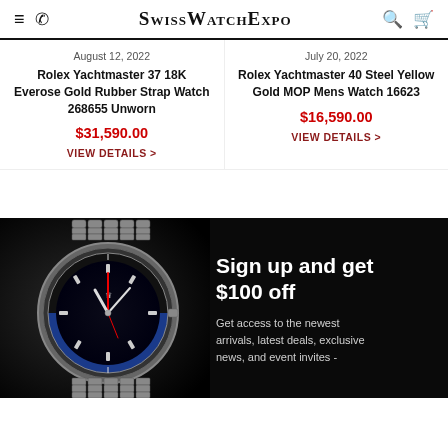SwissWatchExpo
August 12, 2022
Rolex Yachtmaster 37 18K Everose Gold Rubber Strap Watch 268655 Unworn
$31,590.00
VIEW DETAILS >
July 20, 2022
Rolex Yachtmaster 40 Steel Yellow Gold MOP Mens Watch 16623
$16,590.00
VIEW DETAILS >
[Figure (photo): Rolex GMT-Master II watch with black and blue bezel on jubilee bracelet, on dark background, with promotional text 'Sign up and get $100 off - Get access to the newest arrivals, latest deals, exclusive news, and event invites -']